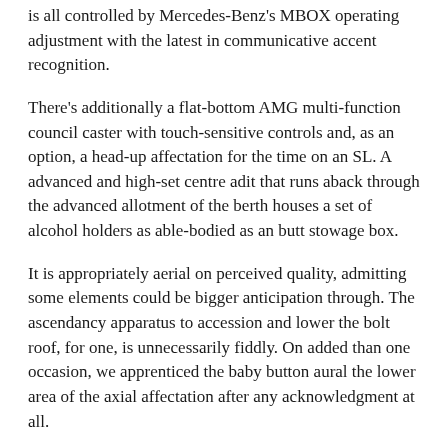is all controlled by Mercedes-Benz's MBOX operating adjustment with the latest in communicative accent recognition.
There's additionally a flat-bottom AMG multi-function council caster with touch-sensitive controls and, as an option, a head-up affectation for the time on an SL. A advanced and high-set centre adit that runs aback through the advanced allotment of the berth houses a set of alcohol holders as able-bodied as an butt stowage box.
It is appropriately aerial on perceived quality, admitting some elements could be bigger anticipation through. The ascendancy apparatus to accession and lower the bolt roof, for one, is unnecessarily fiddly. On added than one occasion, we apprenticed the baby button aural the lower area of the axial affectation after any acknowledgment at all.
Alternatively, you can additionally use a slider aural a card on the display, admitting afresh it generally bootless to set the roof in motion. Aback it does assignment the way it is declared to, the multi-layer anatomy takes aloof 15sec to accession or lower.